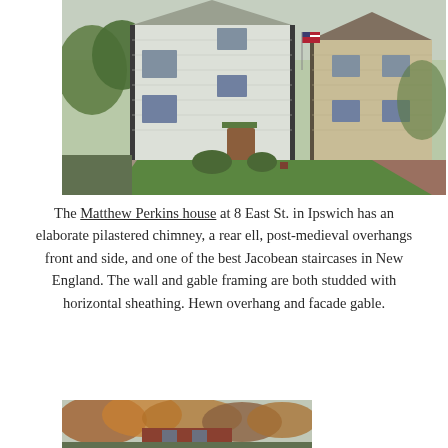[Figure (photo): Photograph of the Matthew Perkins house at 8 East St. in Ipswich — a white clapboard two-story colonial house with black corner posts, green lawn, brick path, American flag, and neighboring tan house to the right. Trees and foliage visible around the structure.]
The Matthew Perkins house at 8 East St. in Ipswich has an elaborate pilastered chimney, a rear ell, post-medieval overhangs front and side, and one of the best Jacobean staircases in New England. The wall and gable framing are both studded with horizontal sheathing. Hewn overhang and facade gable.
[Figure (photo): Partial photograph at the bottom of the page showing a brick building partially obscured by trees with autumn foliage.]